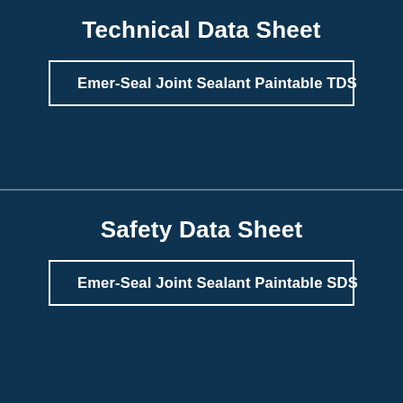Technical Data Sheet
Emer-Seal Joint Sealant Paintable TDS
Safety Data Sheet
Emer-Seal Joint Sealant Paintable SDS